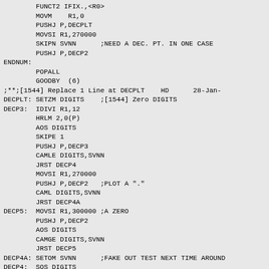FUNCT2 IFIX.,<R0>
        MOVM    R1,0
        PUSHJ P,DECPLT
        MOVSI R1,270000
        SKIPN SVNN      ;NEED A DEC. PT. IN ONE CASE
        PUSHJ P,DECP2
ENDNUM:
        POPALL
        GOODBY  (6)
;**;[1544] Replace 1 Line at DECPLT    HD      28-Jan-
DECPLT: SETZM DIGITS    ;[1544] Zero DIGITS
DECP3:  IDIVI R1,12
        HRLM 2,0(P)
        AOS DIGITS
        SKIPE 1
        PUSHJ P,DECP3
        CAMLE DIGITS,SVNN
        JRST DECP4
        MOVSI R1,270000
        PUSHJ P,DECP2   ;PLOT A "."
        CAML DIGITS,SVNN
        JRST DECP4A
DECP5:  MOVSI R1,300000 ;A ZERO
        PUSHJ P,DECP2
        AOS DIGITS
        CAMGE DIGITS,SVNN
        JRST DECP5
DECP4A: SETOM SVNN      ;FAKE OUT TEST NEXT TIME AROUND
DECP4:  SOS DIGITS
        HLRZ R1,0(P)